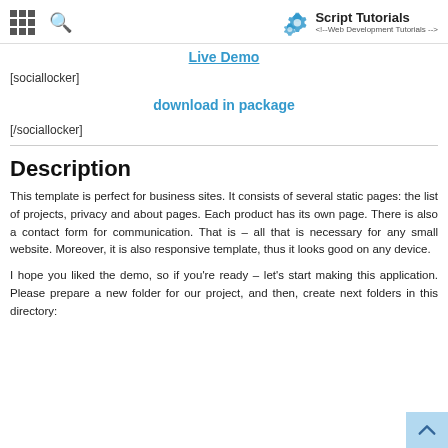Script Tutorials <!-- Web Development Tutorials -->
Live Demo
[sociallocker]
download in package
[/sociallocker]
Description
This template is perfect for business sites. It consists of several static pages: the list of projects, privacy and about pages. Each product has its own page. There is also a contact form for communication. That is – all that is necessary for any small website. Moreover, it is also responsive template, thus it looks good on any device.
I hope you liked the demo, so if you're ready – let's start making this application. Please prepare a new folder for our project, and then, create next folders in this directory: